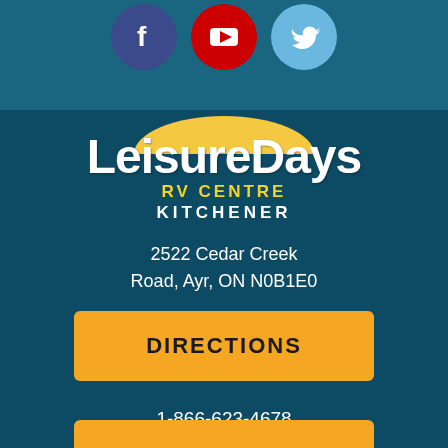[Figure (logo): Social media icons: Facebook (dark blue circle with 'f'), YouTube (red circle with play button), Twitter (light blue circle with bird icon)]
[Figure (logo): LeisureDays RV Centre Kitchener logo with yellow sun arc, white bold 'LeisureDays' text, yellow 'RV CENTRE', white 'KITCHENER']
2522 Cedar Creek Road, Ayr, ON N0B1E0
DIRECTIONS
1-866-623-4678
1-519-622-7197